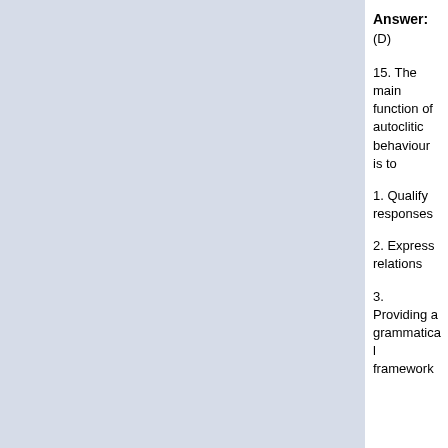Answer: (D)
15. The main function of autoclitic behaviour is to
1. Qualify responses
2. Express relations
3. Providing a grammatical framework